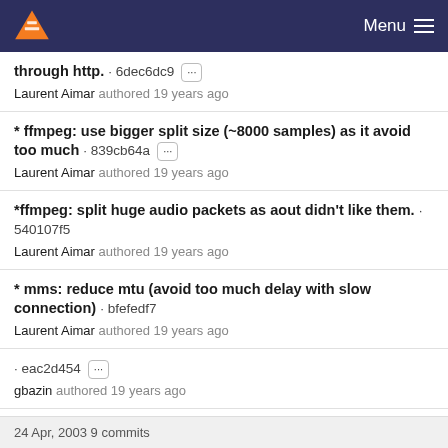VLC Menu
through http. · 6dec6dc9 ··· Laurent Aimar authored 19 years ago
* ffmpeg: use bigger split size (~8000 samples) as it avoid too much · 839cb64a ··· Laurent Aimar authored 19 years ago
*ffmpeg: split huge audio packets as aout didn't like them. · 540107f5 Laurent Aimar authored 19 years ago
* mms: reduce mtu (avoid too much delay with slow connection) · bfefedf7 Laurent Aimar authored 19 years ago
· eac2d454 ··· gbazin authored 19 years ago
24 Apr, 2003 9 commits